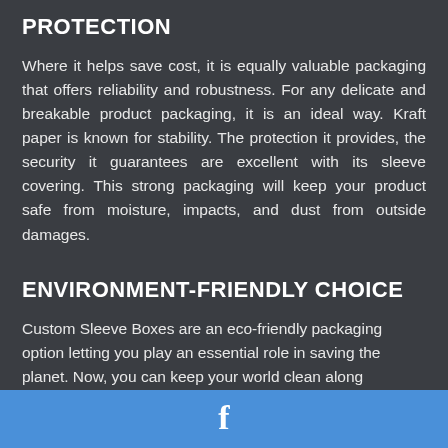PROTECTION
Where it helps save cost, it is equally valuable packaging that offers reliability and robustness. For any delicate and breakable product packaging, it is an ideal way. Kraft paper is known for stability. The protection it provides, the security it guarantees are excellent with its sleeve covering. This strong packaging will keep your product safe from moisture, impacts, and dust from outside damages.
ENVIRONMENT-FRIENDLY CHOICE
Custom Sleeve Boxes are an eco-friendly packaging option letting you play an essential role in saving the planet. Now, you can keep your world clean along...
[Figure (logo): Facebook icon 'f' logo in white on blue footer bar]